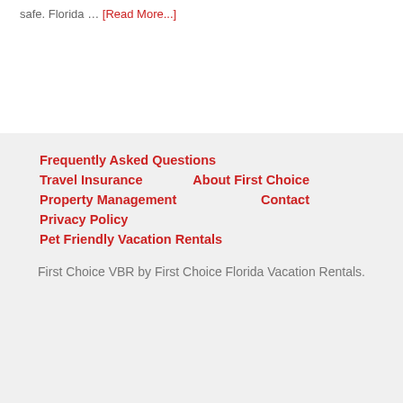safe. Florida … [Read More...]
Frequently Asked Questions
Travel Insurance
About First Choice
Property Management
Contact
Privacy Policy
Pet Friendly Vacation Rentals
First Choice VBR by First Choice Florida Vacation Rentals.